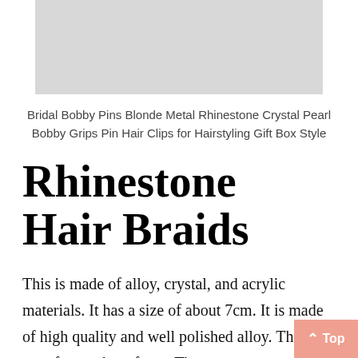[Figure (photo): Light gray rectangular image placeholder for product photo of bridal bobby pins]
Bridal Bobby Pins Blonde Metal Rhinestone Crystal Pearl Bobby Grips Pin Hair Clips for Hairstyling Gift Box Style
Rhinestone Hair Braids
This is made of alloy, crystal, and acrylic materials. It has a size of about 7cm. It is made of high quality and well polished alloy. The clips are of smooth surfeces. They are use